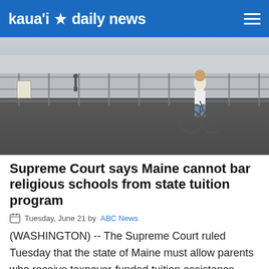kaua'i daily news
[Figure (photo): Outdoor plaza scene with metal security fencing, a person on a bicycle in the foreground, and other individuals in the background near barriers. Appears to be near a government or public building.]
Supreme Court says Maine cannot bar religious schools from state tuition program
Tuesday, June 21 by ABC News
(WASHINGTON) -- The Supreme Court ruled Tuesday that the state of Maine must allow parents who receive taxpayer-funded tuition assistance payments to use them… Read More.
[Figure (screenshot): YouTube / USCIRF video thumbnail showing a dark blue background with a person silhouette, labeled YouTube / USCIRF]